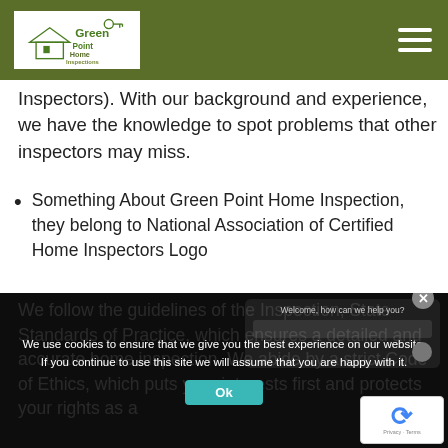GreenPoint Home Inspections [logo with hamburger menu]
Inspectors). With our background and experience, we have the knowledge to spot problems that other inspectors may miss.
Something About Green Point Home Inspection, they belong to National Association of Certified Home Inspectors Logo
Something About Green Point Home Inspection, they belong to American Home Inspectors Training
We follow the guidelines of the Inspection, State Standards of Practice, which ensures a detailed and accurate home inspection. We abide by a strict Code of Ethics, which puts your interests first and protects your rights as a
We use cookies to ensure that we give you the best experience on our website. If you continue to use this site we will assume that you are happy with it.
Ok